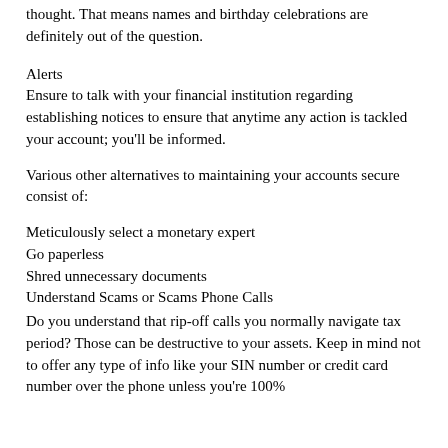thought. That means names and birthday celebrations are definitely out of the question.
Alerts
Ensure to talk with your financial institution regarding establishing notices to ensure that anytime any action is tackled your account; you'll be informed.
Various other alternatives to maintaining your accounts secure consist of:
Meticulously select a monetary expert
Go paperless
Shred unnecessary documents
Understand Scams or Scams Phone Calls
Do you understand that rip-off calls you normally navigate tax period? Those can be destructive to your assets. Keep in mind not to offer any type of info like your SIN number or credit card number over the phone unless you're 100%